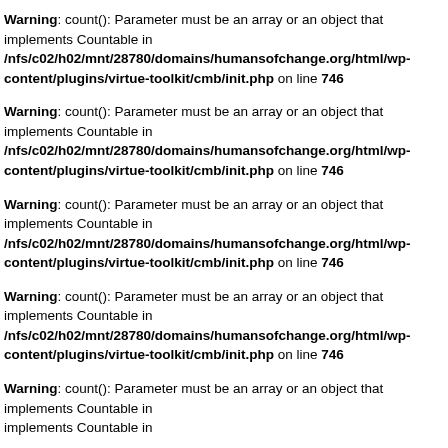Warning: count(): Parameter must be an array or an object that implements Countable in /nfs/c02/h02/mnt/28780/domains/humansofchange.org/html/wp-content/plugins/virtue-toolkit/cmb/init.php on line 746
Warning: count(): Parameter must be an array or an object that implements Countable in /nfs/c02/h02/mnt/28780/domains/humansofchange.org/html/wp-content/plugins/virtue-toolkit/cmb/init.php on line 746
Warning: count(): Parameter must be an array or an object that implements Countable in /nfs/c02/h02/mnt/28780/domains/humansofchange.org/html/wp-content/plugins/virtue-toolkit/cmb/init.php on line 746
Warning: count(): Parameter must be an array or an object that implements Countable in /nfs/c02/h02/mnt/28780/domains/humansofchange.org/html/wp-content/plugins/virtue-toolkit/cmb/init.php on line 746
Warning: count(): Parameter must be an array or an object that implements Countable in